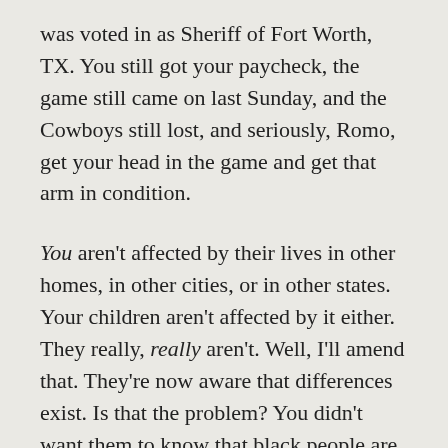was voted in as Sheriff of Fort Worth, TX. You still got your paycheck, the game still came on last Sunday, and the Cowboys still lost, and seriously, Romo, get your head in the game and get that arm in condition.
You aren't affected by their lives in other homes, in other cities, or in other states. Your children aren't affected by it either. They really, really aren't. Well, I'll amend that. They're now aware that differences exist. Is that the problem? You didn't want them to know that black people are successful beyond sports and music? That gay people don't want their parents and other married couples to stop being married because they can't get legally married in all 50 states? That atheists don't care that you're in church on Sunday (because seriously, it is so blissfully quiet on Sunday morning when I go run....